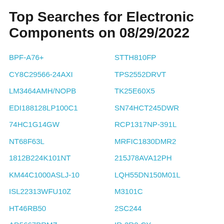Top Searches for Electronic Components on 08/29/2022
BPF-A76+
STTH810FP
CY8C29566-24AXI
TPS2552DRVT
LM3464AMH/NOPB
TK25E60X5
EDI188128LP100C1
SN74HCT245DWR
74HC1G14GW
RCP1317NP-391L
NT68F63L
MRFIC1830DMR2
1812B224K101NT
215J78AVA12PH
KM44C1000ASLJ-10
LQH55DN150M01L
ISL22313WFU10Z
M3101C
HT46RB50
2SC244
AD5667BRMZ
IR-2R0-CY